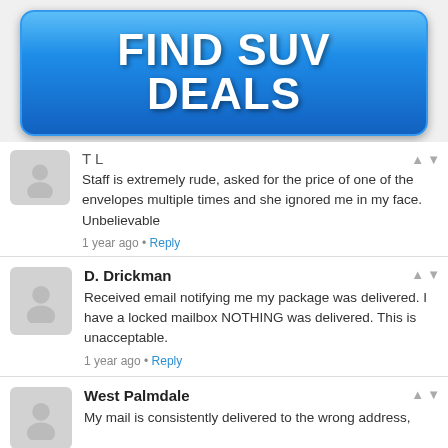[Figure (infographic): Blue rounded rectangle banner advertisement with bold white text reading FIND SUV DEALS]
T L
Staff is extremely rude, asked for the price of one of the envelopes multiple times and she ignored me in my face. Unbelievable
1 year ago • Reply
D. Drickman
Received email notifying me my package was delivered. I have a locked mailbox NOTHING was delivered. This is unacceptable.
1 year ago • Reply
West Palmdale
My mail is consistently delivered to the wrong address,